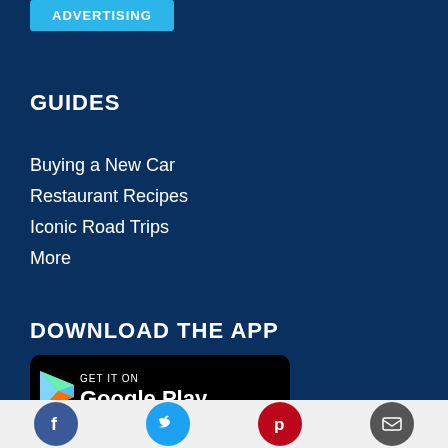[Figure (other): Advertising button/badge in cyan/blue]
GUIDES
Buying a New Car
Restaurant Recipes
Iconic Road Trips
More
DOWNLOAD THE APP
[Figure (logo): Google Play store badge with play triangle icon on black rounded background]
[Figure (other): Social media icons row: Facebook (blue circle), Twitter (cyan circle), Pinterest (red circle), Email (dark grey circle)]